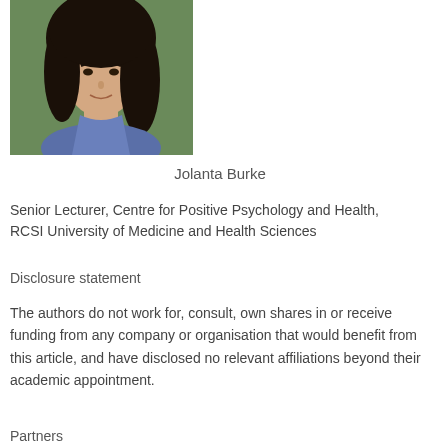[Figure (photo): Portrait photo of Jolanta Burke, a woman with long dark hair wearing a blue top, photographed outdoors]
Jolanta Burke
Senior Lecturer, Centre for Positive Psychology and Health, RCSI University of Medicine and Health Sciences
Disclosure statement
The authors do not work for, consult, own shares in or receive funding from any company or organisation that would benefit from this article, and have disclosed no relevant affiliations beyond their academic appointment.
Partners